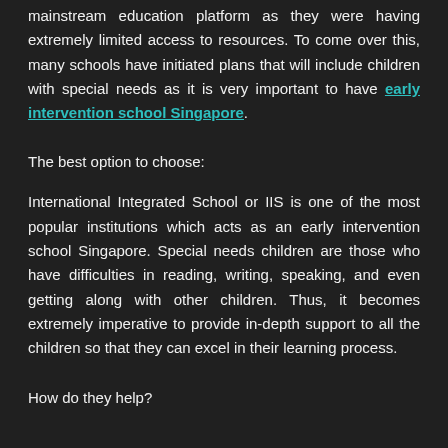mainstream education platform as they were having extremely limited access to resources. To come over this, many schools have initiated plans that will include children with special needs as it is very important to have early intervention school Singapore.
The best option to choose:
International Integrated School or IIS is one of the most popular institutions which acts as an early intervention school Singapore. Special needs children are those who have difficulties in reading, writing, speaking, and even getting along with other children. Thus, it becomes extremely imperative to provide in-depth support to all the children so that they can excel in their learning process.
How do they help?